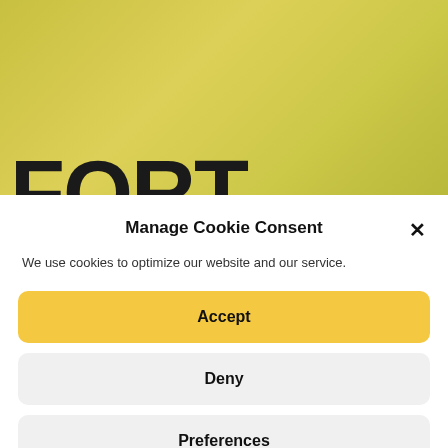[Figure (screenshot): Yellow/olive gradient background with partial large bold black text visible at bottom edge]
Manage Cookie Consent
We use cookies to optimize our website and our service.
Accept
Deny
Preferences